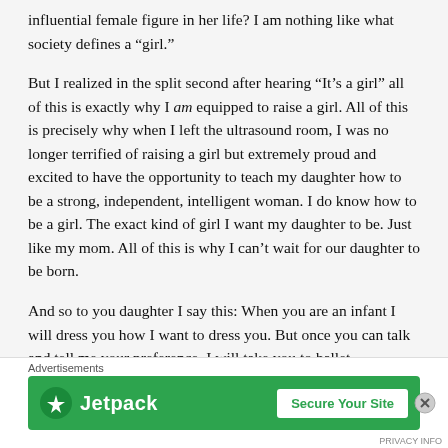influential female figure in her life? I am nothing like what society defines a “girl.”
But I realized in the split second after hearing “It’s a girl” all of this is exactly why I am equipped to raise a girl. All of this is precisely why when I left the ultrasound room, I was no longer terrified of raising a girl but extremely proud and excited to have the opportunity to teach my daughter how to be a strong, independent, intelligent woman. I do know how to be a girl. The exact kind of girl I want my daughter to be. Just like my mom. All of this is why I can’t wait for our daughter to be born.
And so to you daughter I say this: When you are an infant I will dress you how I want to dress you. But once you can talk and tell me your preference. I will take you to ballet
[Figure (other): Jetpack advertisement banner with green background, Jetpack logo on left and 'Secure Your Site' button on right. 'Advertisements' label above the banner.]